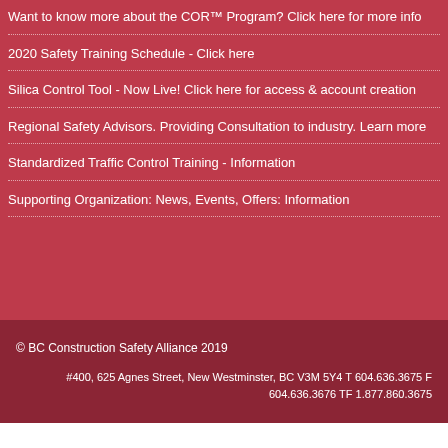Want to know more about the COR™ Program? Click here for more info
2020 Safety Training Schedule - Click here
Silica Control Tool - Now Live!  Click here for access & account creation
Regional Safety Advisors. Providing Consultation to industry. Learn more
Standardized Traffic Control Training - Information
Supporting Organization: News, Events, Offers: Information
© BC Construction Safety Alliance 2019
#400, 625 Agnes Street, New Westminster, BC V3M 5Y4 T 604.636.3675 F 604.636.3676 TF 1.877.860.3675